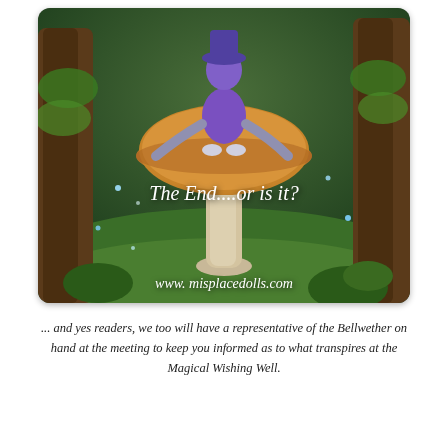[Figure (photo): Fantasy scene with a whimsical doll/creature sitting on top of a large mushroom in an enchanted forest with green moss and magical lights. Text overlay reads 'The End....or is it?' and 'www. misplacedolls.com' at the bottom.]
... and yes readers, we too will have a representative of the Bellwether on hand at the meeting to keep you informed as to what transpires at the Magical Wishing Well.